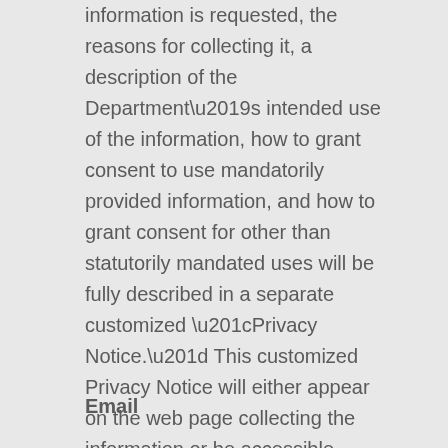information is requested, the reasons for collecting it, a description of the Department's intended use of the information, how to grant consent to use mandatorily provided information, and how to grant consent for other than statutorily mandated uses will be fully described in a separate customized “Privacy Notice.” This customized Privacy Notice will either appear on the web page collecting the information or be accessible through a hyperlink (link) prominently displayed immediately above or below the information request.
Email